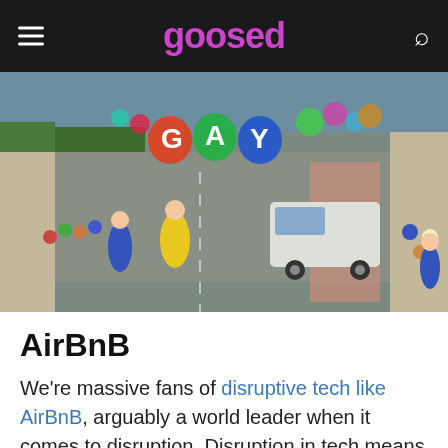goosed
[Figure (photo): Aerial/elevated view of a street parade or festival with people walking along a road, colorful balloon letters spelling 'gay', a clown in yellow costume, a white van, and crowds of spectators on the sidewalks.]
AirBnB
We're massive fans of disruptive tech like AirBnB, arguably a world leader when it comes to disruption. Disruption in tech means a company changes how we do age-old things, like renting hotel rooms, but AirBnB's unicorn